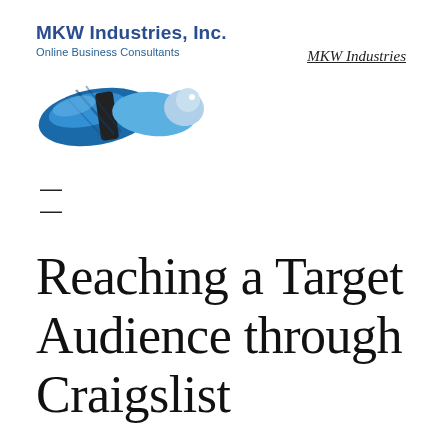[Figure (logo): MKW Industries, Inc. logo with eagle/wings graphic in blue tones, text 'MKW Industries, Inc. Online Business Consultants']
MKW Industries
=
Reaching a Target Audience through Craigslist